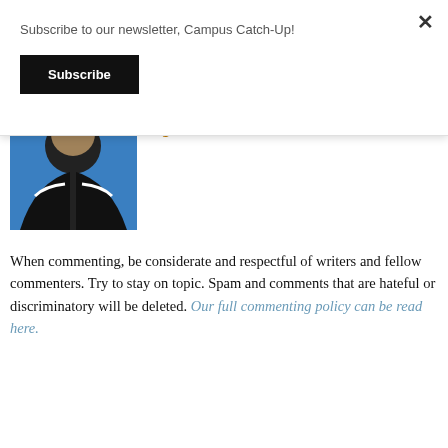Subscribe to our newsletter, Campus Catch-Up!
Subscribe
digital ballots
[Figure (photo): A person wearing a dark zip-up jacket against a blue background, cropped at chest level.]
When commenting, be considerate and respectful of writers and fellow commenters. Try to stay on topic. Spam and comments that are hateful or discriminatory will be deleted. Our full commenting policy can be read here.